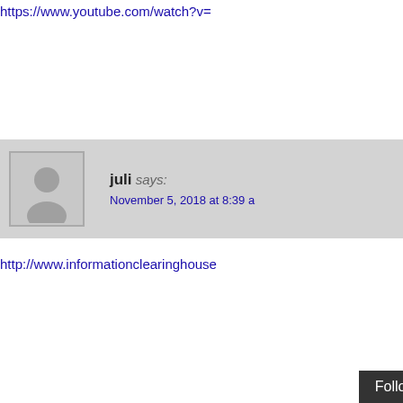https://www.youtube.com/watch?v=...
[Figure (other): Comment block: juli says: November 5, 2018 at 8:39 a... with placeholder avatar]
http://www.informationclearinghous...
[Figure (other): Comment block: Paul Vonharnish say... November 5, 2018 at 6:30 a... with purple/dark avatar photo]
I gleaned this first link from randall... organization seems well meaning i...
https://extinctionrebellion.org/
The first interesting YouTube title is...
Ignored By Our Leaders?  When...
https://www.youtube.com/watch?... v=5LTMgt9gYNA&fe...